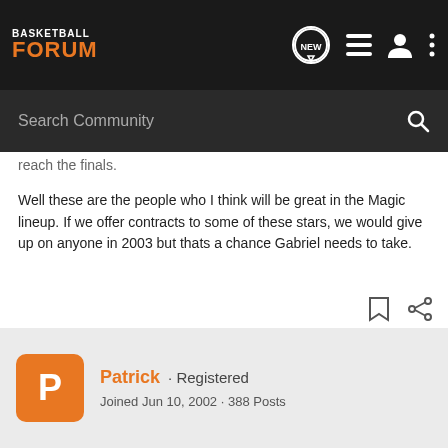[Figure (screenshot): Basketball Forum navigation bar with logo, search icon, list icon, user icon, and more options icon]
reach the finals.
Well these are the people who I think will be great in the Magic lineup. If we offer contracts to some of these stars, we would give up on anyone in 2003 but thats a chance Gabriel needs to take.
If anyone has any other suggestions on who else to take, I look forward to your feedback.
Patrick · Registered
Joined Jun 10, 2002 · 388 Posts